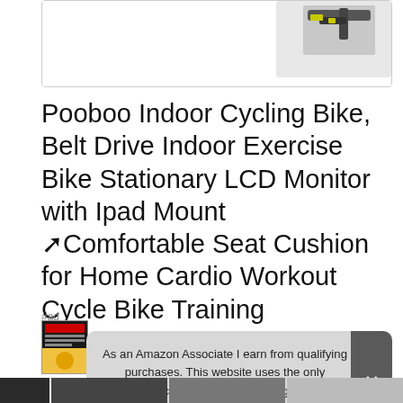[Figure (photo): Partial image of a bike component (indoor cycling bike part) shown at the top of the page, partially cut off]
Pooboo Indoor Cycling Bike, Belt Drive Indoor Exercise Bike Stationary LCD Monitor with Ipad Mount ➢Comfortable Seat Cushion for Home Cardio Workout Cycle Bike Training
#ad
As an Amazon Associate I earn from qualifying purchases. This website uses the only necessary cookies to ensure you get the best experience on our website. More information